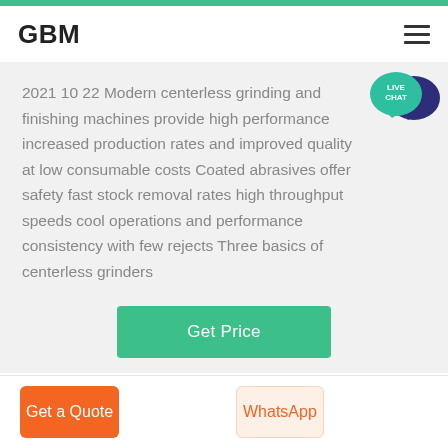GBM
2021 10 22 Modern centerless grinding and finishing machines provide high performance increased production rates and improved quality at low consumable costs Coated abrasives offer safety fast stock removal rates high throughput speeds cool operations and performance consistency with few rejects Three basics of centerless grinders
Get Price
Get a Quote
WhatsApp